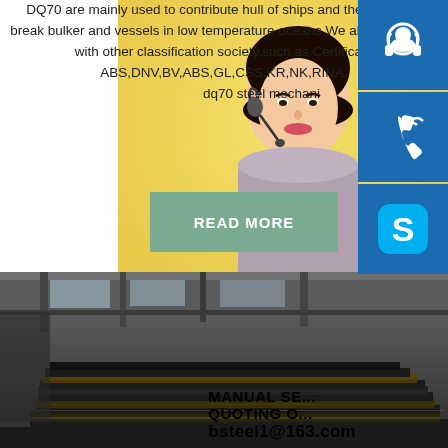DQ70 are mainly used to contribute hull of ships and the cranes of break bulker and vessels in low temperature oceans.We also cooperate with other classification society,such as Certificate ABS,DNV,BV,ABS,GL,CSS,KR,NK,RINA, dq70 steel mechani
[Figure (photo): Woman with headset serving as customer support representative, shown from chest up with blurred background]
[Figure (infographic): Three blue icon boxes on the right side: headset/customer support icon, telephone/call icon, and Skype icon (S logo)]
[Figure (photo): Button or CTA element with teal/green background and READ MORE text in white]
MANUAL SE...
QUOTING O...
bsteel1@163.com
[Figure (photo): Industrial warehouse interior showing stacked steel plates/sheets piled in layers, industrial ceiling and structural beams visible in background]